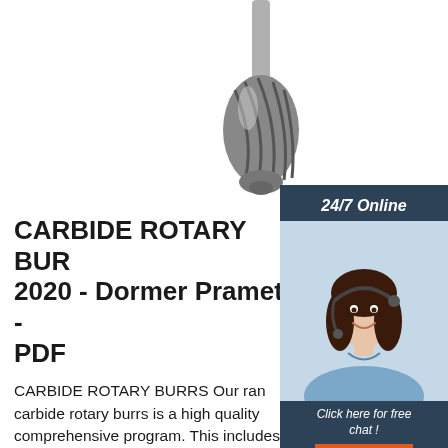[Figure (photo): Carbide rotary burr cutting tool photographed at angle against white background, showing spiral fluted tip]
[Figure (photo): 24/7 online customer service agent: woman with headset smiling, sidebar panel with dark navy background, 'Click here for free chat!' and orange QUOTATION button]
CARBIDE ROTARY BURRS 2020 - Dormer Pramet - PDF
CARBIDE ROTARY BURRS Our range of carbide rotary burrs is a high quality and comprehensive program. This includes a variety of designs and shapes to offer an ideal option for the majority of applications in all major industry segments. We have added to our assortment with a new line of burrs for Superalloys and bolt removal.
[Figure (logo): TOP logo: orange triangle made of dots above orange text 'TOP']